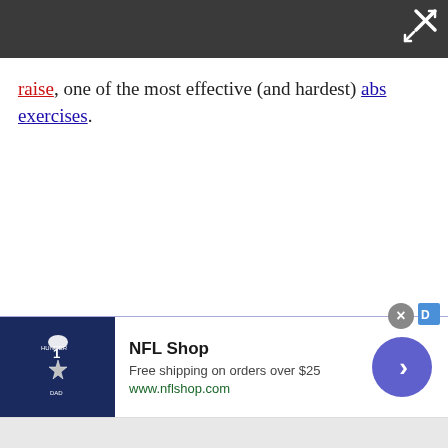[Figure (screenshot): Dark gray top bar with a white close/fullscreen icon (X with arrows) in the top right corner]
raise, one of the most effective (and hardest) abs exercises.
[Figure (screenshot): Advertisement banner for NFL Shop showing a Dallas Cowboys jersey, text 'NFL Shop', 'Free shipping on orders over $25', 'www.nflshop.com', and a blue circular arrow button on the right. An X close button appears at the top of the ad.]